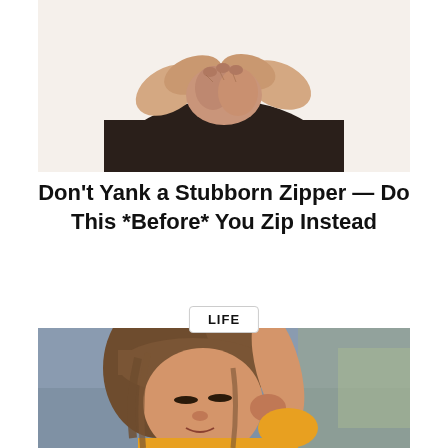[Figure (photo): Person in dark top pulling at the back of their clothing, hands crossed behind their back trying to reach a zipper, on white background]
Don't Yank a Stubborn Zipper — Do This *Before* You Zip Instead
LIFE
[Figure (photo): Young woman with brown bangs and hair, wearing yellow top, raising her arm above her head, looking down, blurred indoor background]